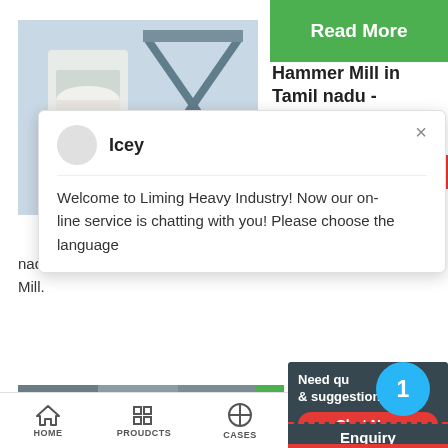[Figure (screenshot): Website screenshot showing a Hammer Mill product page from Liming Heavy Industry with a chat popup overlay, navigation bar, and product image]
Read More
Hammer Mill in Tamil nadu - Manufacturers and Supplier
Icey
Welcome to Liming Heavy Industry! Now our on-line service is chatting with you! Please choose the language
nadu with catalogs, phone numbers, addresses p... Mill.
Need qu... & suggestion?
Chat Now
1
Enquiry
limingjlmofen
HOME
PROUDCTS
CASES